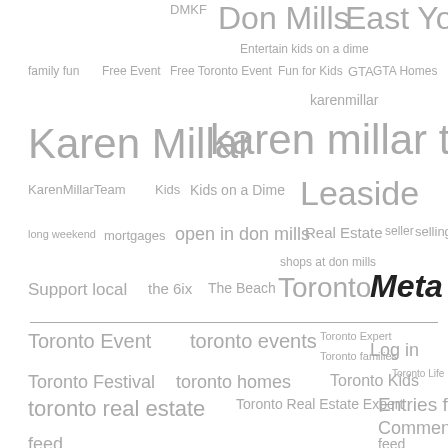[Figure (infographic): Tag cloud containing various tags related to Toronto real estate, family events, and locations including: DMKF, Don Mills, East York, Entertain kids on a dime, family fun, Free Event, Free Toronto Event, Fun for Kids, GTA, GTA Homes, karenmillar, Karen Millar, karen millar team, KarenMillarTeam, Kids, Kids on a Dime, Leaside, long weekend, mortgages, open in don mills, Real Estate, seller, selling, shops at don mills, Support local, the 6ix, The Beach, Toronto, Meta, Toronto Event, toronto events, Toronto Expert, Log in, Toronto families, Toronto Festival, toronto homes, Toronto Kids, Toronto Life, toronto real estate, Toronto Real Estate Expert, Entries feed, Comments feed]